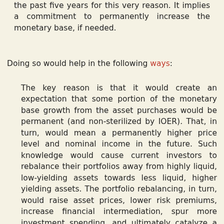the past five years for this very reason. It implies a commitment to permanently increase the monetary base, if needed.
Doing so would help in the following ways:
The key reason is that it would create an expectation that some portion of the monetary base growth from the asset purchases would be permanent (and non-sterilized by IOER). That, in turn, would mean a permanently higher price level and nominal income in the future. Such knowledge would cause current investors to rebalance their portfolios away from highly liquid, low-yielding assets towards less liquid, higher yielding assets. The portfolio rebalancing, in turn, would raise asset prices, lower risk premiums, increase financial intermediation, spur more investment spending, and ultimately catalyze a robust recovery in aggregate demand. (One could also tell a New Keynesian story where the higher future price level implies a temporary bout of higher-than-normal inflation that would lower